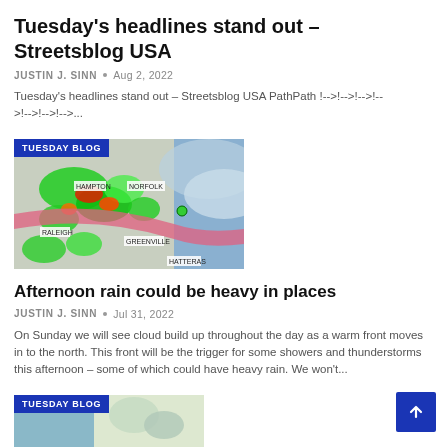Tuesday's headlines stand out – Streetsblog USA
JUSTIN J. SINN • Aug 2, 2022
Tuesday's headlines stand out – Streetsblog USA PathPath !-->!-->!-->!-->!-->!-->...
[Figure (photo): Weather radar map showing storm system over North Carolina/Virginia coast with cities labeled: Norfolk, Hatteras, Greenville, Raleigh, with a red storm track band. Badge reads TUESDAY BLOG.]
Afternoon rain could be heavy in places
JUSTIN J. SINN • Jul 31, 2022
On Sunday we will see cloud build up throughout the day as a warm front moves in to the north. This front will be the trigger for some showers and thunderstorms this afternoon – some of which could have heavy rain. We won't...
[Figure (photo): Partial photo thumbnail with TUESDAY BLOG badge visible at bottom of page.]